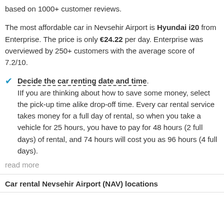based on 1000+ customer reviews.
The most affordable car in Nevsehir Airport is Hyundai i20 from Enterprise. The price is only €24.22 per day. Enterprise was overviewed by 250+ customers with the average score of 7.2/10.
Decide the car renting date and time. IIf you are thinking about how to save some money, select the pick-up time alike drop-off time. Every car rental service takes money for a full day of rental, so when you take a vehicle for 25 hours, you have to pay for 48 hours (2 full days) of rental, and 74 hours will cost you as 96 hours (4 full days).
read more
Car rental Nevsehir Airport (NAV) locations